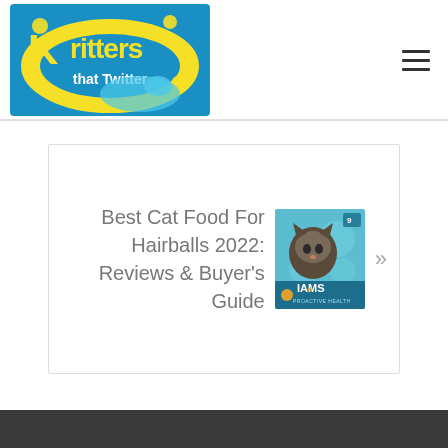[Figure (logo): Critters That Twitter website logo — cartoon animals around yellow circular text on blue background]
[Figure (illustration): Hamburger/menu icon — three horizontal lines]
[Figure (screenshot): Article card showing 'Best Cat Food For Hairballs 2022: Reviews & Buyer's Guide' with IAMS product thumbnail and right arrow]